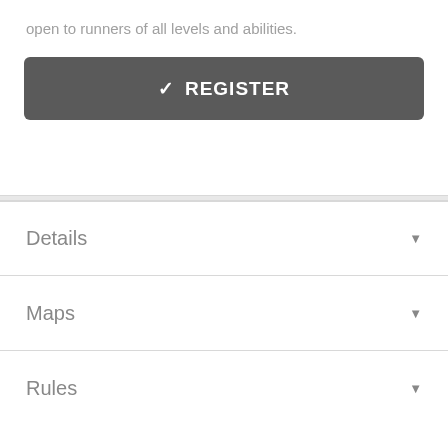open to runners of all levels and abilities.
☑ REGISTER
Details
Maps
Rules
Results